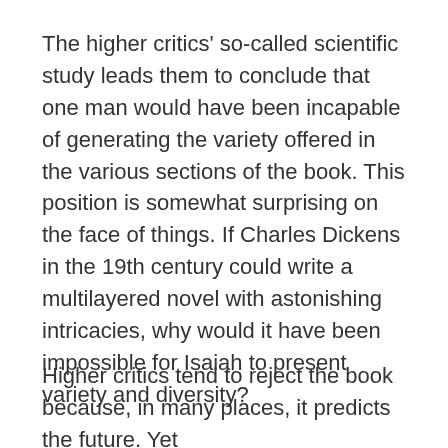The higher critics' so-called scientific study leads them to conclude that one man would have been incapable of generating the variety offered in the various sections of the book. This position is somewhat surprising on the face of things. If Charles Dickens in the 19th century could write a multilayered novel with astonishing intricacies, why would it have been impossible for Isaiah to present variety and diversity?
Higher critics tend to reject the book because, in many places, it predicts the future. Yet